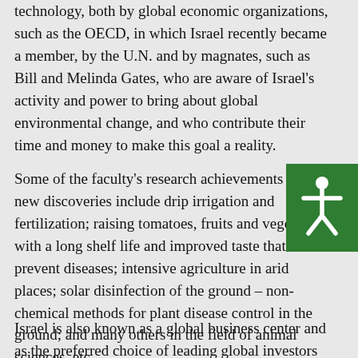technology, both by global economic organizations, such as the OECD, in which Israel recently became a member, by the U.N. and by magnates, such as Bill and Melinda Gates, who are aware of Israel's activity and power to bring about global environmental change, and who contribute their time and money to make this goal a reality.
[Figure (other): Green accessibility button with white human figure icon (arms outstretched)]
Some of the faculty's research achievements and new discoveries include drip irrigation and fertilization; raising tomatoes, fruits and vegetables with a long shelf life and improved taste that prevent diseases; intensive agriculture in arid places; solar disinfection of the ground – non-chemical methods for plant disease control in the ground; and many others in the field of animal sciences, etc.
Israel is also known as a global business center and as the preferred choice of leading global investors and players in all the fields, and in the ever developing field of